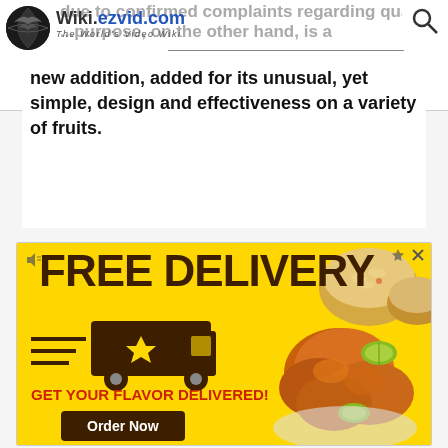Wiki.ezvid.com — The World's Video Wiki
due to confirmed complaints regarding quality. ...purpose, on the other hand, is a new addition, added for its unusual, yet simple, design and effectiveness on a variety of fruits.
[Figure (infographic): Advertisement banner for Pollo Campero showing FREE DELIVERY text with delivery truck graphic, food photo of chicken wings and rice, GET YOUR FLAVOR DELIVERED! text, Order Now button, Entrega a Domicilio Gratis ad info, and Pollo Campero Herndon 10AM-10PM location row.]